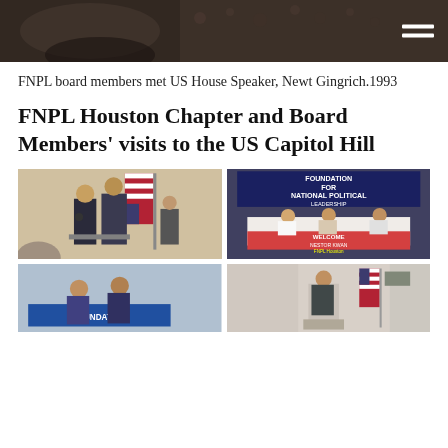[Figure (photo): Dark-toned header photo of a person, with a hamburger menu icon (two horizontal lines) on the right side]
FNPL board members met US House Speaker, Newt Gingrich.1993
FNPL Houston Chapter and Board Members' visits to the US Capitol Hill
[Figure (photo): Photo of two people standing at a podium with a US flag, another person seated in background at a meeting or conference]
[Figure (photo): Photo of people seated at a table with a banner reading 'FOUNDATION FOR NATIONAL POLITICAL LEADERSHIP HOUSTON CHAPTER' and a welcome sign for Nestor Kwan, FNPL Houston]
[Figure (photo): Photo showing a Foundation banner at the bottom (partially visible)]
[Figure (photo): Photo of a person at a podium with a US flag, partially visible]